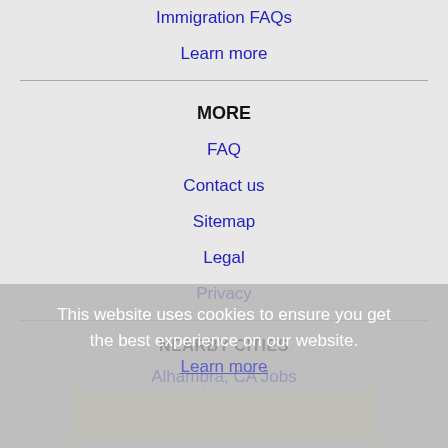Immigration FAQs
Learn more
MORE
FAQ
Contact us
Sitemap
Legal
Privacy
This website uses cookies to ensure you get the best experience on our website.
Learn more
Got it!
NEARBY CITIES
Alhambra, CA Jobs
Aliso Viejo, CA Jobs
Altadena, CA Jobs
Anaheim, CA Jobs
Apple Valley, CA Jobs